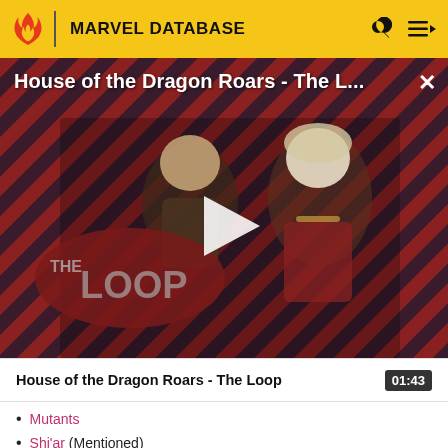MARVEL DATABASE
[Figure (screenshot): Video thumbnail showing House of the Dragon Roars - The Loop with two characters against a diagonal striped red and dark background, play button in center, THE LOOP branding visible]
House of the Dragon Roars - The L...
House of the Dragon Roars - The Loop  01:43
Mutants
Shi'ar (Mentioned)
Locations: